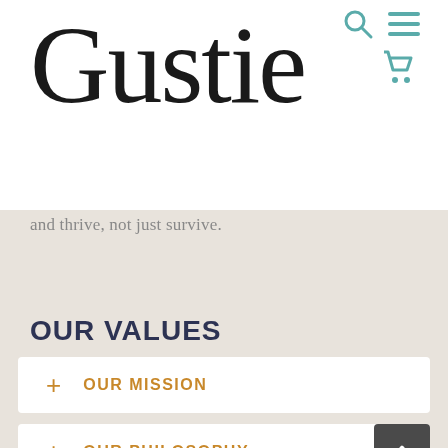[Figure (logo): Gustie brand logo in cursive/script black font with TM superscript, teal search icon, teal hamburger menu icon, and teal shopping cart icon in top right]
and thrive, not just survive.
OUR VALUES
+ OUR MISSION
+ OUR PHILOSOPHY